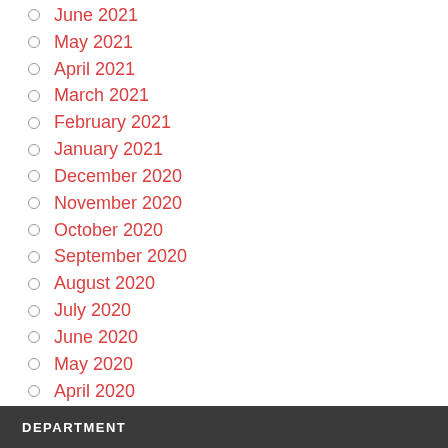June 2021
May 2021
April 2021
March 2021
February 2021
January 2021
December 2020
November 2020
October 2020
September 2020
August 2020
July 2020
June 2020
May 2020
April 2020
March 2020
February 2020
DEPARTMENT